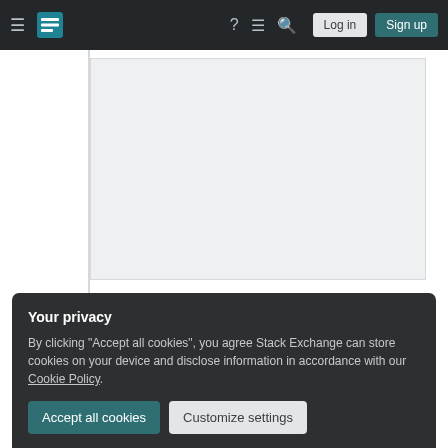Stack Exchange navigation bar with hamburger menu, logo, help, chat, search icons, Log in and Sign up buttons
[Figure (screenshot): Gray content placeholder box with a left sidebar vertical line]
This seems to be
Your privacy
By clicking "Accept all cookies", you agree Stack Exchange can store cookies on your device and disclose information in accordance with our Cookie Policy.
Accept all cookies  Customize settings